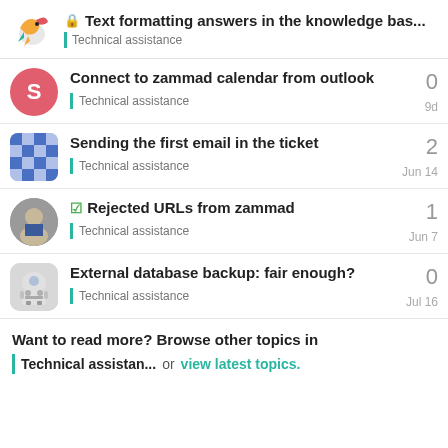Text formatting answers in the knowledge bas... | Technical assistance
Connect to zammad calendar from outlook
Technical assistance | 0 | 9d
Sending the first email in the ticket
Technical assistance | 2 | Jun 14
Rejected URLs from zammad
Technical assistance | 1 | Jun 7
External database backup: fair enough?
Technical assistance | 0 | Jul 16
Want to read more? Browse other topics in Technical assistan... or view latest topics.